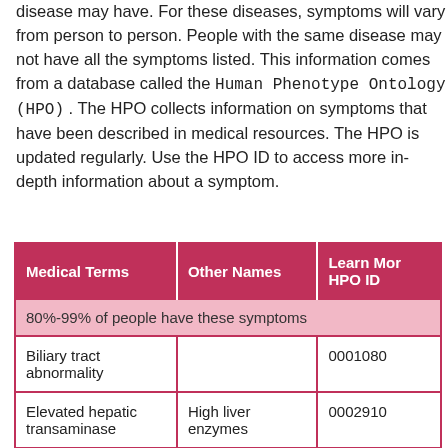disease may have. For these diseases, symptoms will vary from person to person. People with the same disease may not have all the symptoms listed. This information comes from a database called the Human Phenotype Ontology (HPO). The HPO collects information on symptoms that have been described in medical resources. The HPO is updated regularly. Use the HPO ID to access more in-depth information about a symptom.
| Medical Terms | Other Names | Learn More HPO ID |
| --- | --- | --- |
| 80%-99% of people have these symptoms |  |  |
| Biliary tract abnormality |  | 0001080 |
| Elevated hepatic transaminase | High liver enzymes | 0002910 |